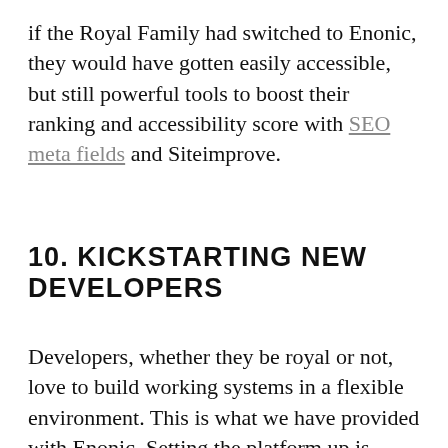if the Royal Family had switched to Enonic, they would have gotten easily accessible, but still powerful tools to boost their ranking and accessibility score with SEO meta fields and Siteimprove.
10. KICKSTARTING NEW DEVELOPERS
Developers, whether they be royal or not, love to build working systems in a flexible environment. This is what we have provided with Enonic. Setting the platform up is fairly easy for developers—just give it a few hours, then you are ready to contribute.
With Drupal it can take a day to set up the platform for a developer environment. Drupal